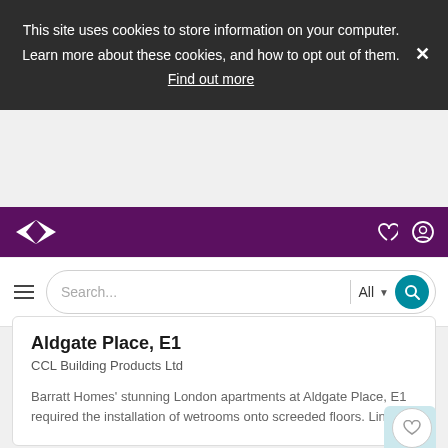This site uses cookies to store information on your computer. Learn more about these cookies, and how to opt out of them. Find out more
[Figure (screenshot): Purple navigation bar with logo (diamond/chevron shape) on left, heart icon and user icon on right]
[Figure (screenshot): Search bar with hamburger menu icon, text input field, All dropdown, and teal search button]
Aldgate Place, E1
CCL Building Products Ltd
Barratt Homes’ stunning London apartments at Aldgate Place, E1 required the installation of wetrooms onto screeded floors. Line…
[Figure (screenshot): Partially visible second card with a building/construction image]